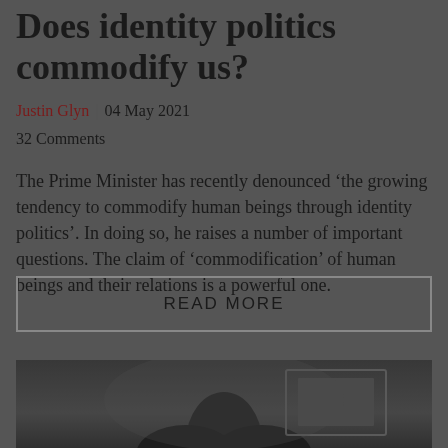Does identity politics commodify us?
Justin Glyn | 04 May 2021
32 Comments
The Prime Minister has recently denounced ‘the growing tendency to commodify human beings through identity politics’. In doing so, he raises a number of important questions. The claim of ‘commodification’ of human beings and their relations is a powerful one.
READ MORE
[Figure (photo): Black and white photograph of a person, partially visible at the bottom of the page]